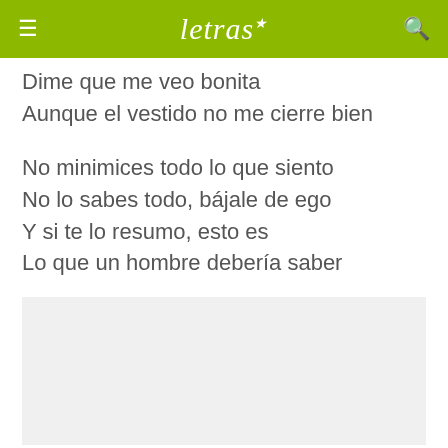letras
Dime que me veo bonita
Aunque el vestido no me cierre bien
No minimices todo lo que siento
No lo sabes todo, bájale de ego
Y si te lo resumo, esto es
Lo que un hombre debería saber
[Figure (other): Advertisement placeholder box with light gray background]
Deberías saber que